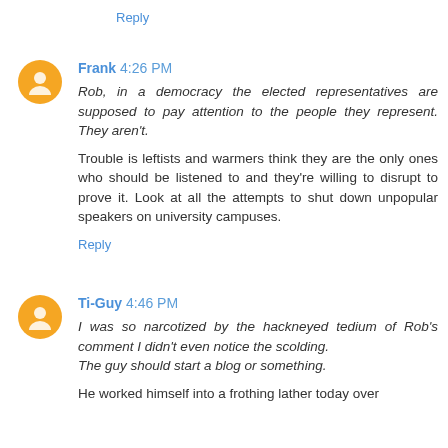Reply
Frank 4:26 PM
Rob, in a democracy the elected representatives are supposed to pay attention to the people they represent. They aren't.
Trouble is leftists and warmers think they are the only ones who should be listened to and they're willing to disrupt to prove it. Look at all the attempts to shut down unpopular speakers on university campuses.
Reply
Ti-Guy 4:46 PM
I was so narcotized by the hackneyed tedium of Rob's comment I didn't even notice the scolding.
The guy should start a blog or something.
He worked himself into a frothing lather today over